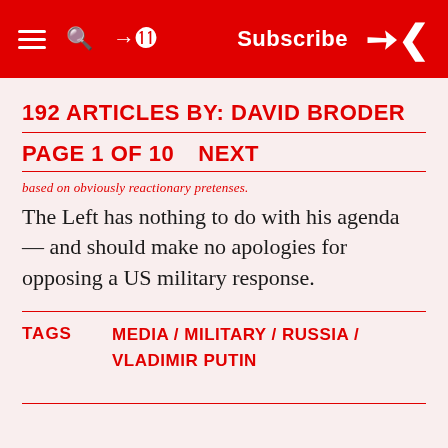Subscribe
192 ARTICLES BY: DAVID BRODER
PAGE 1 OF 10    NEXT
based on obviously reactionary pretenses.
The Left has nothing to do with his agenda — and should make no apologies for opposing a US military response.
TAGS   MEDIA / MILITARY / RUSSIA / VLADIMIR PUTIN